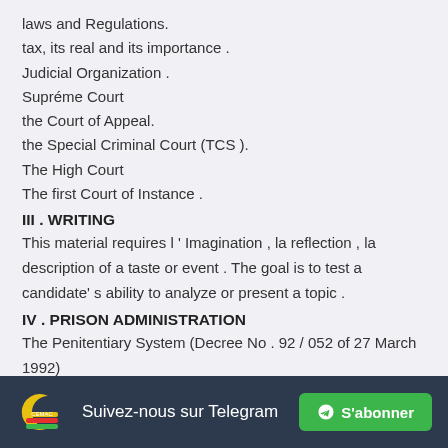laws and Regulations.
tax, its real and its importance .
Judicial Organization .
Supréme Court
the Court of Appeal.
the Special Criminal Court (TCS ).
The High Court
The first Court of Instance .
III . WRITING
This material requires l ' Imagination , la reflection , la description of a taste or event . The goal is to test a candidate' s ability to analyze or present a topic .
IV . PRISON ADMINISTRATION
The Penitentiary System (Decree No . 92 / 052 of 27 March 1992)
Suivez-nous sur Telegram  S'abonner